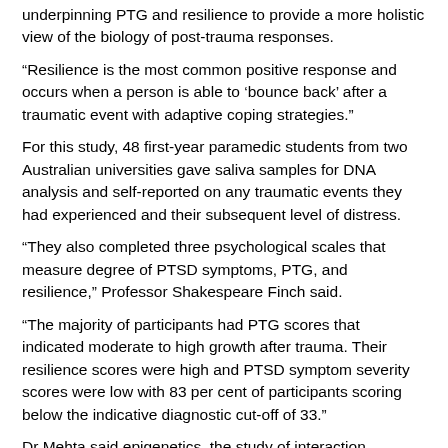underpinning PTG and resilience to provide a more holistic view of the biology of post-trauma responses.
“Resilience is the most common positive response and occurs when a person is able to ‘bounce back’ after a traumatic event with adaptive coping strategies.”
For this study, 48 first-year paramedic students from two Australian universities gave saliva samples for DNA analysis and self-reported on any traumatic events they had experienced and their subsequent level of distress.
“They also completed three psychological scales that measure degree of PTSD symptoms, PTG, and resilience,” Professor Shakespeare Finch said.
“The majority of participants had PTG scores that indicated moderate to high growth after trauma. Their resilience scores were high and PTSD symptom severity scores were low with 83 per cent of participants scoring below the indicative diagnostic cut-off of 33.”
Dr Mehta said epigenetics, the study of interaction between the environment and a person’s genome, could tell us much about the biological processes behind trauma responses.
“An often-studied epigenetic mechanism is DNA methylation, a process which changes the gene expression and consequently the function of a